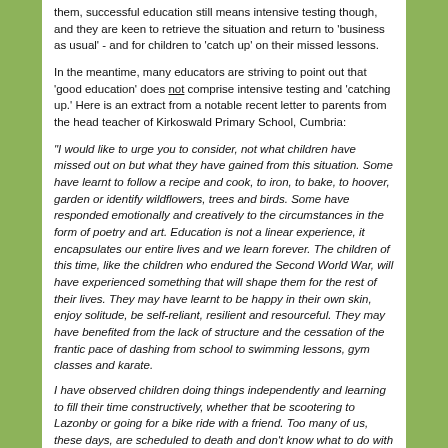them, successful education still means intensive testing though, and they are keen to retrieve the situation and return to 'business as usual' - and for children to 'catch up' on their missed lessons.
In the meantime, many educators are striving to point out that 'good education' does not comprise intensive testing and 'catching up.' Here is an extract from a notable recent letter to parents from the head teacher of Kirkoswald Primary School, Cumbria:
"I would like to urge you to consider, not what children have missed out on but what they have gained from this situation. Some have learnt to follow a recipe and cook, to iron, to bake, to hoover, garden or identify wildflowers, trees and birds. Some have responded emotionally and creatively to the circumstances in the form of poetry and art. Education is not a linear experience, it encapsulates our entire lives and we learn forever. The children of this time, like the children who endured the Second World War, will have experienced something that will shape them for the rest of their lives. They may have learnt to be happy in their own skin, enjoy solitude, be self-reliant, resilient and resourceful. They may have benefited from the lack of structure and the cessation of the frantic pace of dashing from school to swimming lessons, gym classes and karate.
I have observed children doing things independently and learning to fill their time constructively, whether that be scootering to Lazonby or going for a bike ride with a friend. Too many of us, these days, are scheduled to death and don't know what to do with ourselves when we are given time. Let us hope that this time has gifted the children of this generation with an ability to take time out, reflect and be